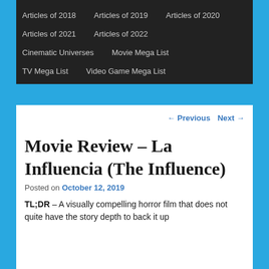Articles of 2018
Articles of 2019
Articles of 2020
Articles of 2021
Articles of 2022
Cinematic Universes
Movie Mega List
TV Mega List
Video Game Mega List
← Previous   Next →
Movie Review – La Influencia (The Influence)
Posted on October 12, 2019
TL;DR – A visually compelling horror film that does not quite have the story depth to back it up